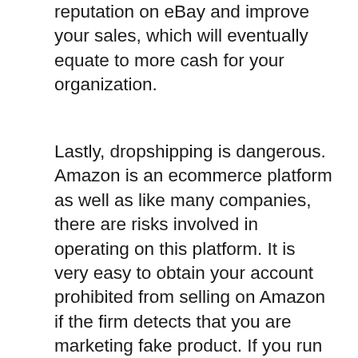reputation on eBay and improve your sales, which will eventually equate to more cash for your organization.
Lastly, dropshipping is dangerous. Amazon is an ecommerce platform as well as like many companies, there are risks involved in operating on this platform. It is very easy to obtain your account prohibited from selling on Amazon if the firm detects that you are marketing fake product. If you run a dropshipping organization utilizing Amazon as your system, it is critical that you comprehend the guidelines as well as follow them very closely. Make sure to ask your dropshipper about these dangers and do not wait to call them should you decide that you can not wage the sale.